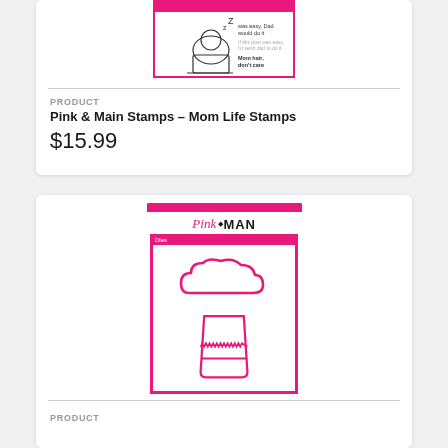[Figure (photo): Pink & Main Mom Life Stamps product package image with pink border showing cartoon mom sleeping at laptop and text 'Mom hair, don't care']
PRODUCT
Pink & Main Stamps - Mom Life Stamps
$15.99
[Figure (photo): Pink & Main die cuts product package with pink border, logo at top, and two die cut shapes: a cloud/thought bubble shape and a coffee cup shape]
PRODUCT